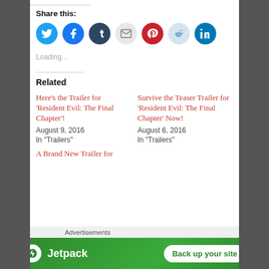Share this:
[Figure (infographic): Row of social media share buttons: Twitter (blue bird), Facebook (blue f), Tumblr (dark blue t), Email (grey envelope), Pinterest (red P), Reddit (light blue alien), LinkedIn (blue in)]
Loading...
Related
Here’s the Trailer for ‘Resident Evil: The Final Chapter’!
August 9, 2016
In "Trailers"
Survive the Teaser Trailer for ‘Resident Evil: The Final Chapter’ Now!
August 6, 2016
In "Trailers"
A Brand New Trailer for
Advertisements
[Figure (infographic): Jetpack advertisement banner with green background, Jetpack logo, and 'Back up your site' white button]